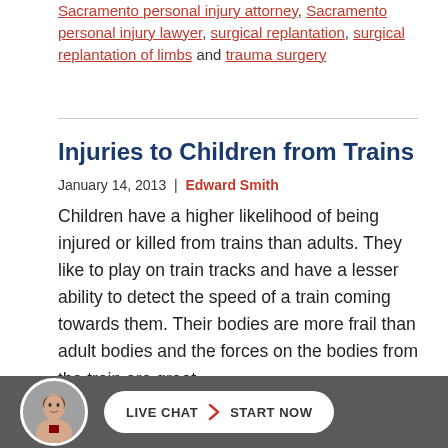Sacramento personal injury attorney, Sacramento personal injury lawyer, surgical replantation, surgical replantation of limbs and trauma surgery
Injuries to Children from Trains
January 14, 2013 | Edward Smith
Children have a higher likelihood of being injured or killed from trains than adults. They like to play on train tracks and have a lesser ability to detect the speed of a train coming towards them. Their bodies are more frail than adult bodies and the forces on the bodies from the train are great.
[Figure (other): Footer bar with attorney avatar photo and Live Chat Start Now button on dark grey background]